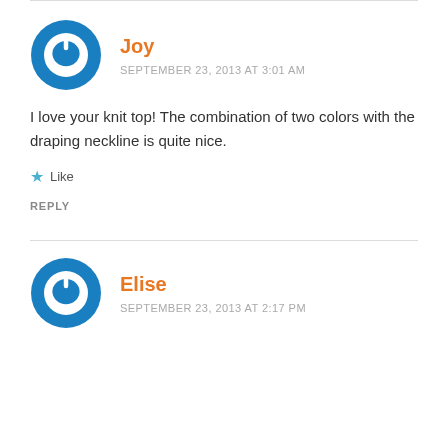[Figure (logo): Blue circular power button icon avatar for Joy]
Joy
SEPTEMBER 23, 2013 AT 3:01 AM
I love your knit top! The combination of two colors with the draping neckline is quite nice.
★ Like
REPLY
[Figure (logo): Blue circular power button icon avatar for Elise]
Elise
SEPTEMBER 23, 2013 AT 2:17 PM